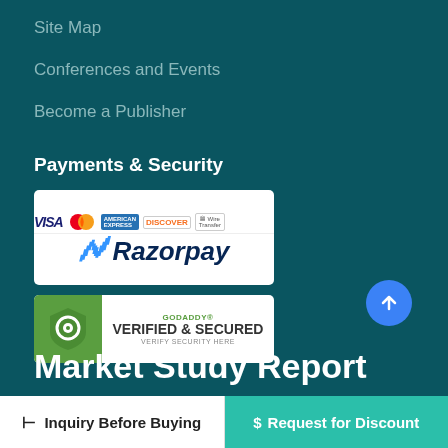Site Map
Conferences and Events
Become a Publisher
Payments & Security
[Figure (logo): Payment methods badge showing VISA, MasterCard, American Express, Discover, Wire Transfer logos, and Razorpay logo]
[Figure (logo): GoDaddy Verified & Secured badge with shield icon and text VERIFY SECURITY HERE]
Market Study Report
Inquiry Before Buying
$ Request for Discount